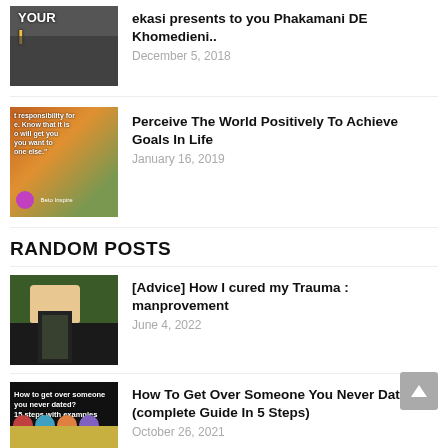[Figure (photo): Thumbnail image of a person in dark clothing]
ekasi presents to you Phakamani DE Khomedieni..
December 5, 2018
[Figure (photo): Thumbnail with motivational text about responsibility]
Perceive The World Positively To Achieve Goals In Life
January 16, 2019
RANDOM POSTS
[Figure (photo): Thumbnail of a boy on a bench, movie still]
[Advice] How I cured my Trauma : manprovement
June 4, 2022
[Figure (photo): Thumbnail with text 'How to get over someone you never dated? 15 steps with examples' and figures]
How To Get Over Someone You Never Dated? (complete Guide In 5 Steps)
October 26, 2021
[Figure (photo): Partial thumbnail at bottom of page]